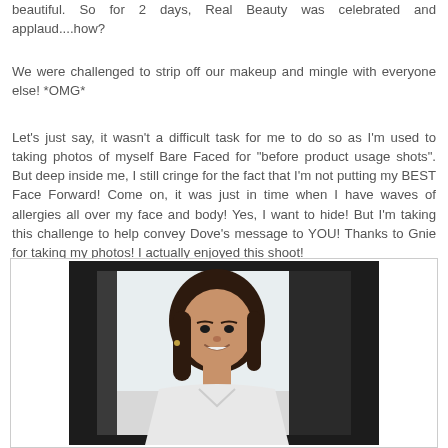beautiful.  So for 2 days, Real Beauty was celebrated and applaud....how?
We were challenged to strip off our makeup and mingle with everyone else!  *OMG*
Let's just say, it wasn't a difficult task for me to do so as I'm used to taking photos of myself Bare Faced for "before product usage shots".  But deep inside me, I still cringe for the fact that I'm not putting my BEST Face Forward!  Come on, it was just in time when I have waves of allergies all over my face and body!  Yes, I want to hide!  But I'm taking this challenge to help convey Dove's message to YOU!  Thanks to Gnie for taking my photos!  I actually enjoyed this shoot!
[Figure (photo): A photo displayed on a screen/monitor showing a young woman with dark hair, smiling, wearing a white top, against a light background, framed within a dark monitor/TV border.]